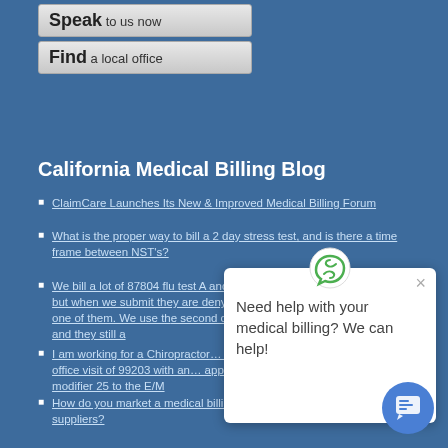[Figure (screenshot): Two UI buttons: 'Speak to us now' and 'Find a local office' with silver gradient styling]
California Medical Billing Blog
ClaimCare Launches Its New & Improved Medical Billing Forum
What is the proper way to bill a 2 day stress test, and is there a time frame between NST's?
We bill a lot of 87804 flu test A and B but when we submit they are denying one of them. We use the 59 modifier on the second one and they still a…
I am working for a Chiropractor billing an office visit of 99203 with an… append modifier 25 to the E/M…
How do you market a medical billing business to physicians and medical suppliers?
We use appianway software for billing and capario as the clearing… All our Medicare as secondary payer claims get rejected at the clear… house. Any advice on how to set up MSP in Appianway?
[Figure (screenshot): Popup dialog with green recycling/help icon saying 'Need help with your medical billing? We can help!' with close X button and blue chat button in bottom right corner]